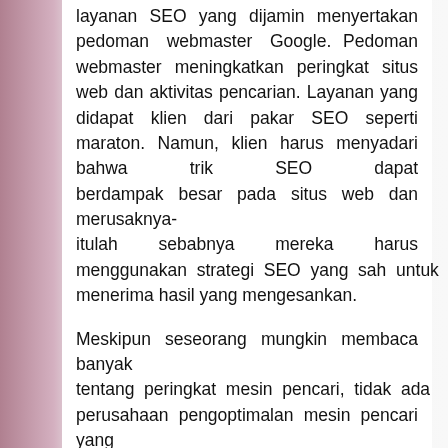layanan SEO yang dijamin menyertakan pedoman webmaster Google. Pedoman webmaster meningkatkan peringkat situs web dan aktivitas pencarian. Layanan yang didapat klien dari pakar SEO seperti maraton. Namun, klien harus menyadari bahwa trik SEO dapat berdampak besar pada situs web dan merusaknya-itulah sebabnya mereka harus menggunakan strategi SEO yang sah untuk menerima hasil yang mengesankan.
Meskipun seseorang mungkin membaca banyak tentang peringkat mesin pencari, tidak ada perusahaan pengoptimalan mesin pencari yang dapat memastikan bahwa situsnya akan mendapatkan halaman pertama di hasil mesin pencari Google atau Yahoo. Meskipun demikian, perusahaan SEO telah menjamin layanan SEO dan sangat bagus ketika seseorang